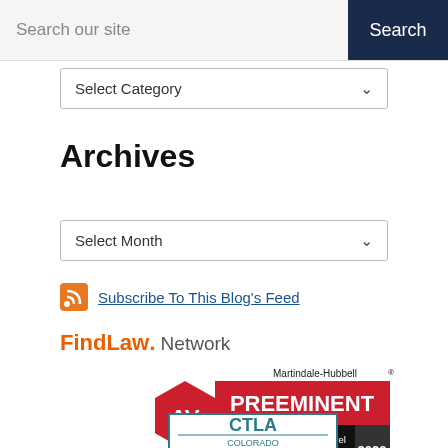Search our site | Search
Select Category
Archives
Select Month
Subscribe To This Blog's Feed
FindLaw. Network
[Figure (logo): Martindale-Hubbell AV Preeminent 2020 badge - Peer Rated for Highest Level of Professional Excellence]
[Figure (logo): CTLA Colorado Trial Lawyers badge]